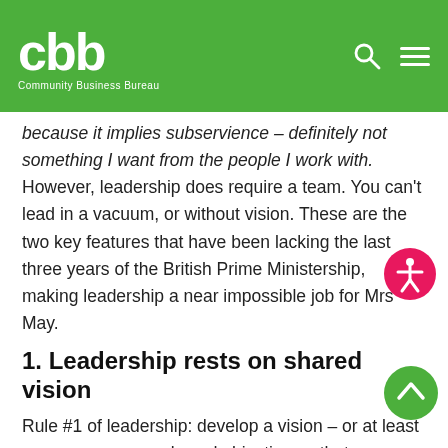cbb Community Business Bureau
because it implies subservience – definitely not something I want from the people I work with. However, leadership does require a team. You can't lead in a vacuum, or without vision. These are the two key features that have been lacking the last three years of the British Prime Ministership, making leadership a near impossible job for Mrs May.
1. Leadership rests on shared vision
Rule #1 of leadership: develop a vision – or at least some common goals and objectives – that your